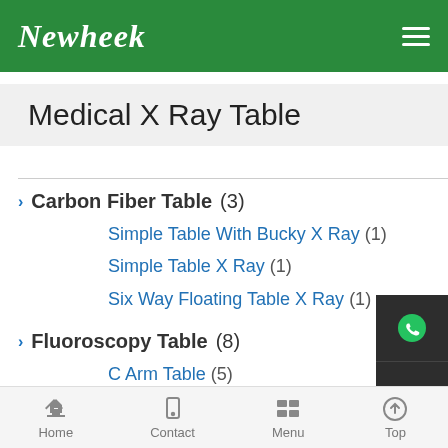Newheek
Medical X Ray Table
Carbon Fiber Table (3)
Simple Table With Bucky X Ray (1)
Simple Table X Ray (1)
Six Way Floating Table X Ray (1)
Fluoroscopy Table (8)
C Arm Table (5)
RF X Ray Table (3)
Lookup Table Radiography (26)
Floating Table (7)
Home  Contact  Menu  Top